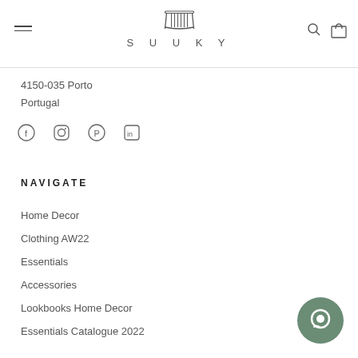SUUKY — navigation header with hamburger menu, logo, search and cart icons
4150-035 Porto
Portugal
[Figure (other): Social media icons row: Facebook, Instagram, Pinterest, LinkedIn]
NAVIGATE
Home Decor
Clothing AW22
Essentials
Accessories
Lookbooks Home Decor
Essentials Catalogue 2022
[Figure (other): Chat widget bubble icon, dark sage green circle with speech bubble]